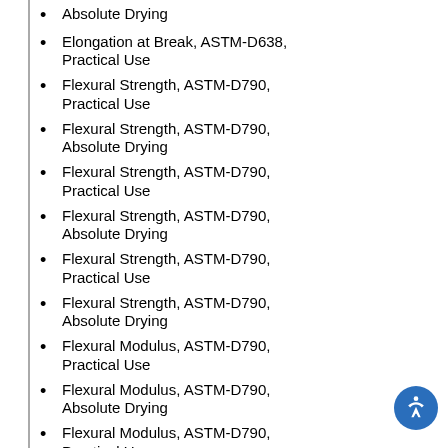Absolute Drying
Elongation at Break, ASTM-D638, Practical Use
Flexural Strength, ASTM-D790, Practical Use
Flexural Strength, ASTM-D790, Absolute Drying
Flexural Strength, ASTM-D790, Practical Use
Flexural Strength, ASTM-D790, Absolute Drying
Flexural Strength, ASTM-D790, Practical Use
Flexural Strength, ASTM-D790, Absolute Drying
Flexural Modulus, ASTM-D790, Practical Use
Flexural Modulus, ASTM-D790, Absolute Drying
Flexural Modulus, ASTM-D790, Practical Use
Flexural Modulus, ASTM-D790, Absolute Drying
Flexural Modulus, ASTM-D790, Practical Use
Flexural Modulus, ASTM-D790, Absolute Drying
Izod Impact, Notched, ASTM-D256, Absolute Drying
Izod Impact, Notched, ASTM-D256,